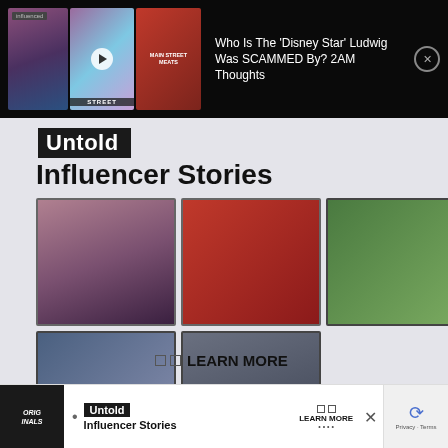[Figure (screenshot): Top black bar showing video thumbnails for 'influenced' content including 'Capturing Hope', animated show, 'Main Street Meats', with a play button overlay and 'STREET' label]
Who Is The 'Disney Star' Ludwig Was SCAMMED By? 2AM Thoughts
Untold
Influencer Stories
[Figure (photo): Grid of 5 photos: a man with short hair against purple background, a red Ferrari sports car, a man in green cap and sunglasses outdoors, a man in black shirt indoors, a close-up of a man's face]
LEARN MORE
[Figure (screenshot): Bottom ad bar showing Originals logo, Untold badge, 'Influencer Stories' text, Learn More button, close button, and reCAPTCHA widget with Privacy - Terms text]